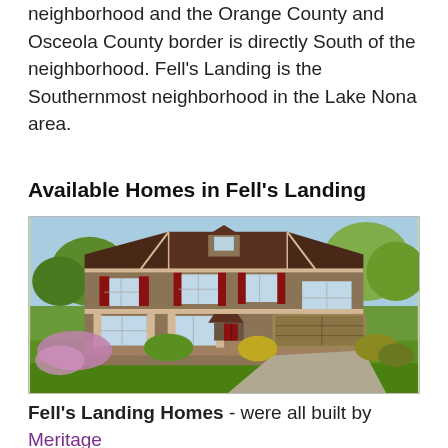neighborhood and the Orange County and Osceola County border is directly South of the neighborhood. Fell's Landing is the Southernmost neighborhood in the Lake Nona area.
Available Homes in Fell's Landing
[Figure (photo): Exterior rendering of a two-story suburban home with brown/tan stucco, dark brown roof, red shutters, stone base accents, two-car garage, and landscaped front yard.]
Fell's Landing Homes - were all built by Meritage